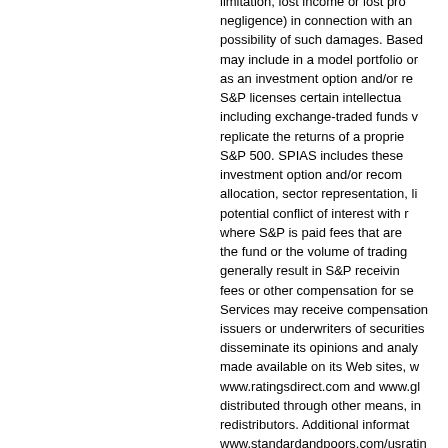limitation, lost income or lost profits, negligence) in connection with any possibility of such damages. Based may include in a model portfolio or as an investment option and/or re S&P licenses certain intellectua including exchange-traded funds v replicate the returns of a proprie S&P 500. SPIAS includes these investment option and/or recom allocation, sector representation, li potential conflict of interest with r where S&P is paid fees that are the fund or the volume of trading generally result in S&P receivin fees or other compensation for se Services may receive compensation issuers or underwriters of securities disseminate its opinions and analy made available on its Web sites, w www.ratingsdirect.com and www.gl distributed through other means, in redistributors. Additional informat www.standardandpoors.com/usrati